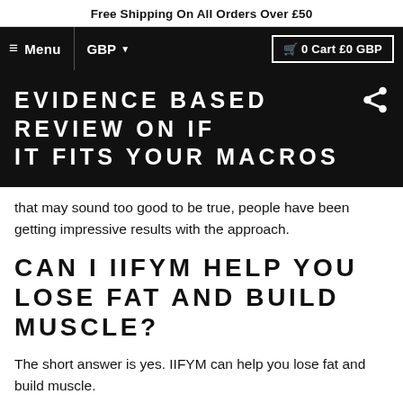Free Shipping On All Orders Over £50
≡ Menu   GBP ▾   🛒 0 Cart £0 GBP
EVIDENCE BASED REVIEW ON IF IT FITS YOUR MACROS
that may sound too good to be true, people have been getting impressive results with the approach.
CAN I IIFYM HELP YOU LOSE FAT AND BUILD MUSCLE?
The short answer is yes. IIFYM can help you lose fat and build muscle.
The reason is that this eating style focuses on calories and